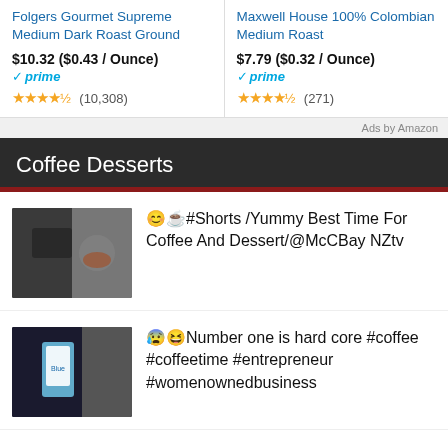Folgers Gourmet Supreme Medium Dark Roast Ground
$10.32 ($0.43 / Ounce) prime (10,308)
Maxwell House 100% Colombian Medium Roast
$7.79 ($0.32 / Ounce) prime (271)
Ads by Amazon
Coffee Desserts
[Figure (screenshot): Video thumbnail showing coffee and dessert scene]
😊☕#Shorts /Yummy Best Time For Coffee And Dessert/@McCBay NZtv
[Figure (screenshot): Video thumbnail showing someone holding a coffee product]
😰😆Number one is hard core #coffee #coffeetime #entrepreneur #womenownedbusiness